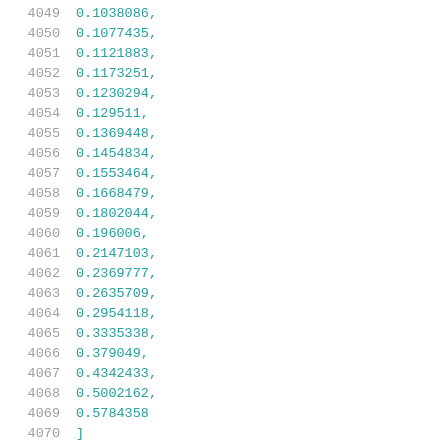4049    0.1038086,
4050    0.1077435,
4051    0.1121883,
4052    0.1173251,
4053    0.1230294,
4054    0.129511,
4055    0.1369448,
4056    0.1454834,
4057    0.1553464,
4058    0.1668479,
4059    0.1802044,
4060    0.196006,
4061    0.2147103,
4062    0.2369777,
4063    0.2635709,
4064    0.2954118,
4065    0.3335338,
4066    0.379049,
4067    0.4342433,
4068    0.5002162,
4069    0.5784358
4070    ]